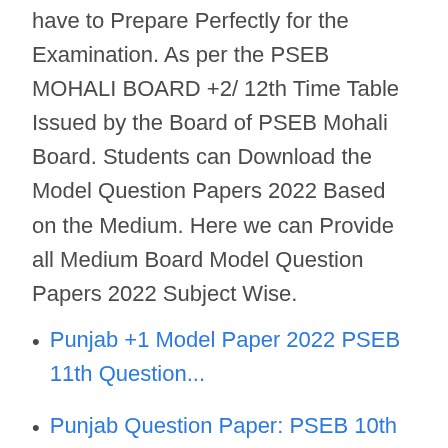have to Prepare Perfectly for the Examination. As per the PSEB MOHALI BOARD +2/ 12th Time Table Issued by the Board of PSEB Mohali Board. Students can Download the Model Question Papers 2022 Based on the Medium. Here we can Provide all Medium Board Model Question Papers 2022 Subject Wise.
Punjab +1 Model Paper 2022 PSEB 11th Question...
Punjab Question Paper: PSEB 10th Model Paper 2022,...